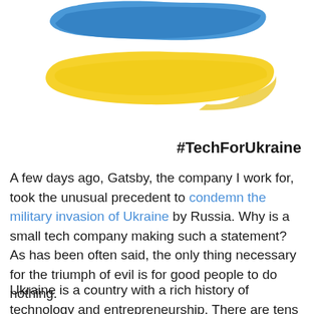[Figure (illustration): Ukrainian flag rendered as a paint brush stroke, with the upper half in blue and the lower half in yellow, centered-left on a white background.]
#TechForUkraine
A few days ago, Gatsby, the company I work for, took the unusual precedent to condemn the military invasion of Ukraine by Russia. Why is a small tech company making such a statement? As has been often said, the only thing necessary for the triumph of evil is for good people to do nothing.
Ukraine is a country with a rich history of technology and entrepreneurship. There are tens